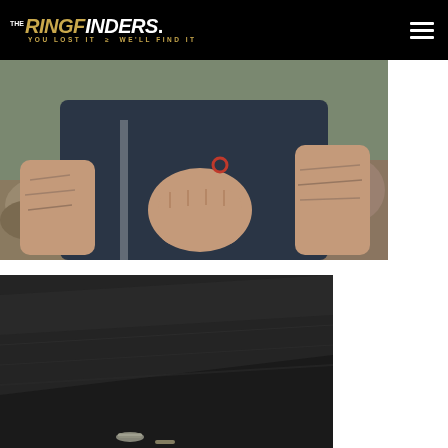The Ring Finders — You Lost It We'll Find It
[Figure (photo): Man in navy blue t-shirt with tattoos on both arms holding up a small ring outdoors near rocks and grass]
[Figure (photo): Close-up of dark surface, possibly a car hood or table, with a small metallic object visible in the lower area]